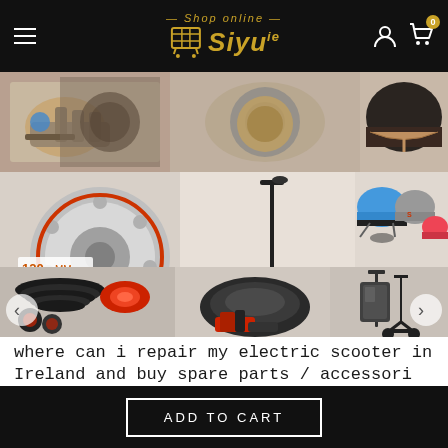Siyu - Shop online
[Figure (photo): Product collage showing electric scooter spare parts and accessories: brake components, disc brake (120mm), rubber trim, helmets in blue/grey/pink/red, electric scooters, handlebar bag, and other accessories]
where can i repair my electric scooter in Ireland and buy spare parts / accessori
Shop electric scooters, Spare parts and accessories in Ireland at www.Siyu.ie
ADD TO CART